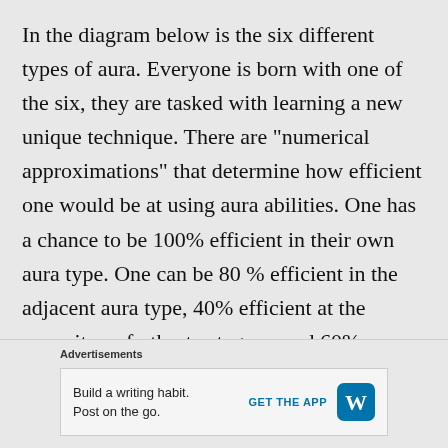In the diagram below is the six different types of aura. Everyone is born with one of the six, they are tasked with learning a new unique technique. There are “numerical approximations” that determine how efficient one would be at using aura abilities. One has a chance to be 100% efficient in their own aura type. One can be 80 % efficient in the adjacent aura type, 40% efficient at the opposite or farthest category, and 60% efficient in the
Advertisements
Build a writing habit. Post on the go.
GET THE APP